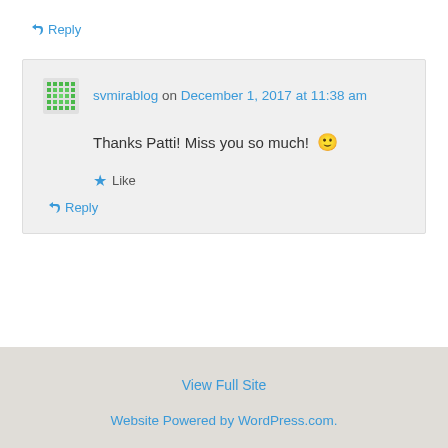↳ Reply
svmirablog on December 1, 2017 at 11:38 am
Thanks Patti! Miss you so much! 🙂
★ Like
↳ Reply
View Full Site
Website Powered by WordPress.com.